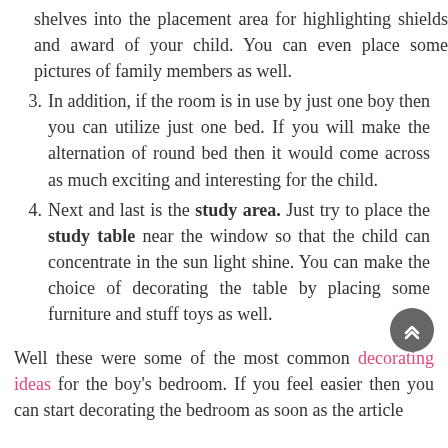shelves into the placement area for highlighting shields and award of your child. You can even place some pictures of family members as well.
3. In addition, if the room is in use by just one boy then you can utilize just one bed. If you will make the alternation of round bed then it would come across as much exciting and interesting for the child.
4. Next and last is the study area. Just try to place the study table near the window so that the child can concentrate in the sun light shine. You can make the choice of decorating the table by placing some furniture and stuff toys as well.
Well these were some of the most common decorating ideas for the boy's bedroom. If you feel easier then you can start decorating the bedroom as soon as the article